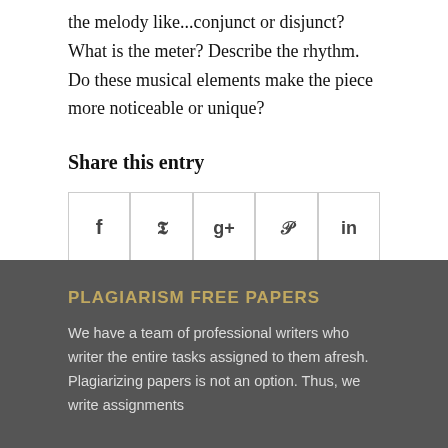the melody like...conjunct or disjunct? What is the meter? Describe the rhythm. Do these musical elements make the piece more noticeable or unique?
Share this entry
[Figure (other): Social media share buttons: Facebook, Twitter, Google+, Pinterest, LinkedIn]
PLAGIARISM FREE PAPERS
We have a team of professional writers who writer the entire tasks assigned to them afresh. Plagiarizing papers is not an option. Thus, we write assignments